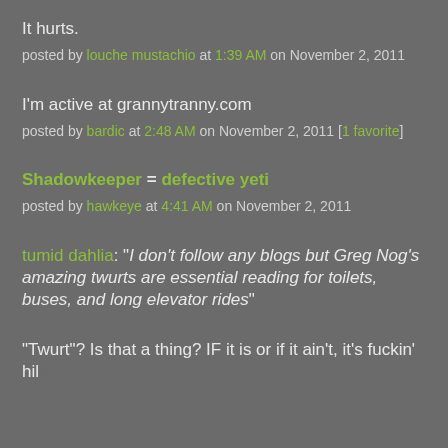It hurts.
posted by louche mustachio at 1:39 AM on November 2, 2011
I'm active at grannytranny.com
posted by bardic at 2:48 AM on November 2, 2011 [1 favorite]
Shadowkeeper = defective yeti
posted by hawkeye at 4:41 AM on November 2, 2011
tumid dahlia: "I don't follow any blogs but Greg Nog's amazing twurts are essential reading for toilets, buses, and long elevator rides"
"Twurt"? Is that a thing? IF it is or if it ain't, it's fuckin' hilarious.